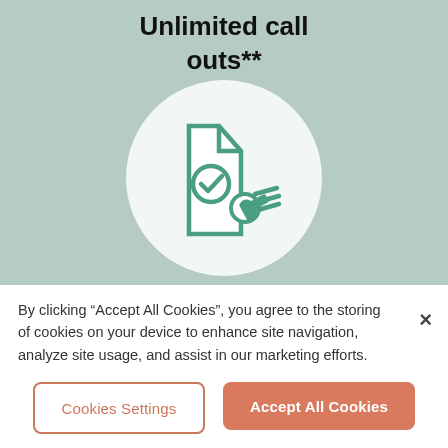Unlimited call outs**
[Figure (illustration): Green outline icon of a document with a checkmark circle, and a wrench/spanner tool, displayed inside a white circle on a muted teal background]
By clicking “Accept All Cookies”, you agree to the storing of cookies on your device to enhance site navigation, analyze site usage, and assist in our marketing efforts.
Cookies Settings
Accept All Cookies